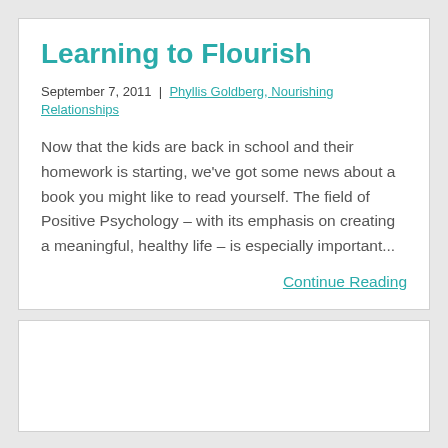Learning to Flourish
September 7, 2011 | Phyllis Goldberg, Nourishing Relationships
Now that the kids are back in school and their homework is starting, we've got some news about a book you might like to read yourself. The field of Positive Psychology – with its emphasis on creating a meaningful, healthy life – is especially important...
Continue Reading